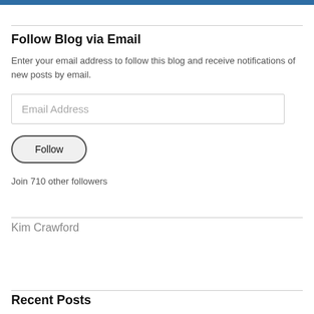Follow Blog via Email
Enter your email address to follow this blog and receive notifications of new posts by email.
Email Address
Follow
Join 710 other followers
Kim Crawford
Recent Posts